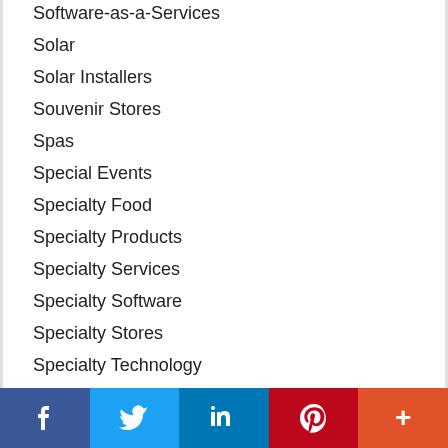Software-as-a-Services
Solar
Solar Installers
Souvenir Stores
Spas
Special Events
Specialty Food
Specialty Products
Specialty Services
Specialty Software
Specialty Stores
Specialty Technology
Sporting Events
Sporting Goods
[Figure (infographic): Social sharing bar with Facebook, Twitter, LinkedIn, Pinterest, and More buttons]